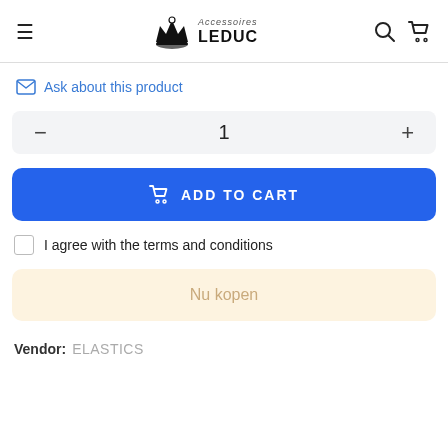Accessoires LEDUC
Ask about this product
1
ADD TO CART
I agree with the terms and conditions
Nu kopen
Vendor: ELASTICS